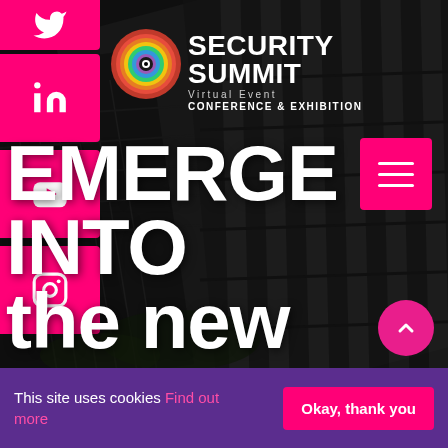[Figure (screenshot): Dark background photo of modern glass skyscrapers/buildings viewed from below at an angle]
[Figure (logo): Security Summit logo — colorful concentric circle eye/target logo with black center dot]
SECURITY SUMMIT Virtual Event CONFERENCE & EXHIBITION
[Figure (other): Hot pink social media sidebar buttons: Twitter (top, partial), LinkedIn, YouTube, Instagram]
[Figure (other): Hot pink hamburger menu button (three horizontal lines) top right]
EMERGE INTO the new
[Figure (other): Pink circular scroll-to-top chevron button, bottom right]
This site uses cookies Find out more
Okay, thank you